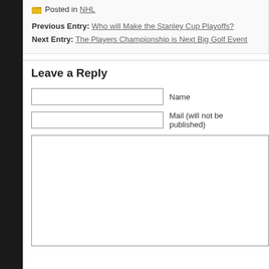Posted in NHL
Previous Entry: Who will Make the Stanley Cup Playoffs?
Next Entry: The Players Championship is Next Big Golf Event
Leave a Reply
Name
Mail (will not be published)